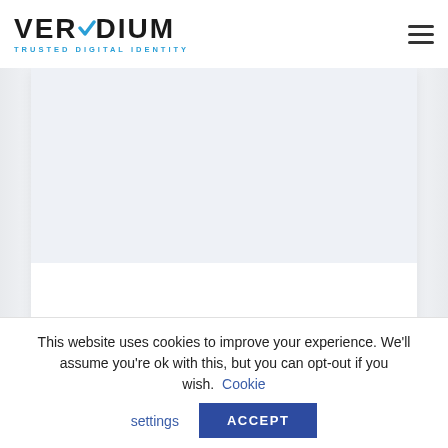[Figure (logo): Veridium logo with checkmark above letter I, text TRUSTED DIGITAL IDENTITY below]
[Figure (other): Hamburger menu icon (three horizontal lines) in top right]
[Figure (screenshot): White card panel with light grey background and side shadows showing a video area placeholder]
4 Fingers Touchless ID
This website uses cookies to improve your experience. We'll assume you're ok with this, but you can opt-out if you wish. Cookie settings ACCEPT